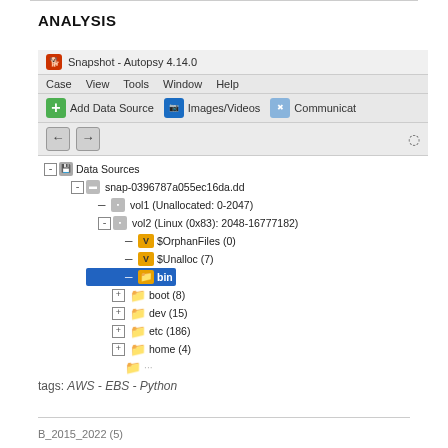ANALYSIS
[Figure (screenshot): Screenshot of Autopsy 4.14.0 forensic analysis tool showing a file tree with Data Sources including snap-0396787a055ec16da.dd with volumes vol1 (Unallocated: 0-2047) and vol2 (Linux 0x83: 2048-16777182) containing $OrphanFiles (0), $Unalloc (7), bin (172) selected, boot (8), dev (15), etc (186), home (4)]
tags: AWS - EBS - Python